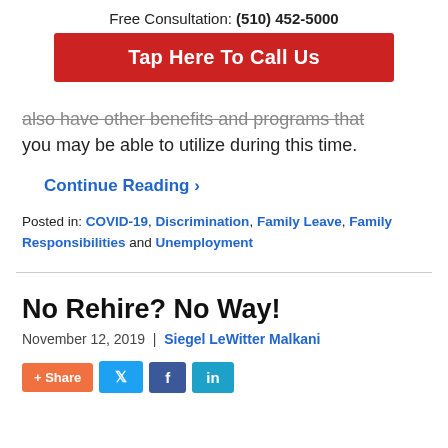Free Consultation: (510) 452-5000
Tap Here To Call Us
also have other benefits and programs that you may be able to utilize during this time.
Continue Reading ›
Posted in: COVID-19, Discrimination, Family Leave, Family Responsibilities and Unemployment
No Rehire? No Way!
November 12, 2019 | Siegel LeWitter Malkani
+ Share  [Twitter] [Facebook] [LinkedIn]